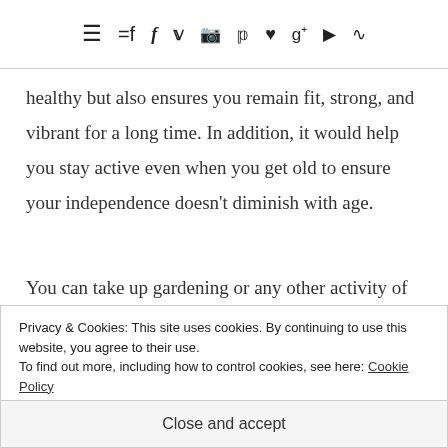≡ f 𝕥 📷 𝕡 ♥ g+ ▶ )))
healthy but also ensures you remain fit, strong, and vibrant for a long time. In addition, it would help you stay active even when you get old to ensure your independence doesn't diminish with age.
You can take up gardening or any other activity of your choice such as yoga, walking or playing badminton. There are no rules about how much exercise one has to do
Privacy & Cookies: This site uses cookies. By continuing to use this website, you agree to their use.
To find out more, including how to control cookies, see here: Cookie Policy
Close and accept
me.